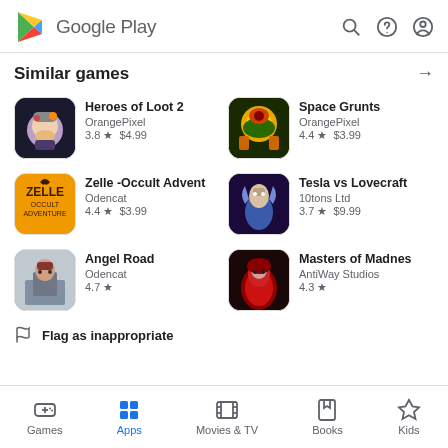Google Play
Similar games
Heroes of Loot 2 | OrangePixel | 3.8 ★  $4.99
Space Grunts | OrangePixel | 4.4 ★  $3.99
Zelle -Occult Advent | Odencat | 4.4 ★  $3.99
Tesla vs Lovecraft | 10tons Ltd | 3.7 ★  $9.99
Angel Road | Odencat | 4.7 ★
Masters of Madnes | AntiWay Studios | 4.3 ★
Flag as inappropriate
Games | Apps | Movies & TV | Books | Kids